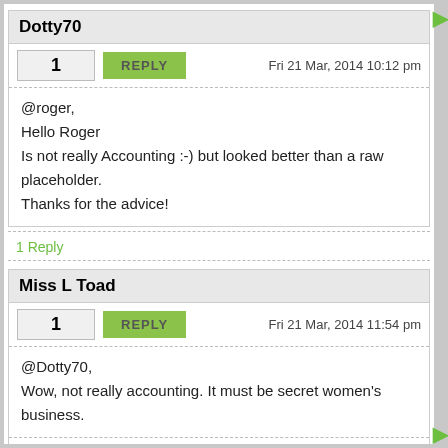Dotty70
1   REPLY   Fri 21 Mar, 2014 10:12 pm
@roger,
Hello Roger
Is not really Accounting :-) but looked better than a raw placeholder.
Thanks for the advice!
1 Reply
Miss L Toad
1   REPLY   Fri 21 Mar, 2014 11:54 pm
@Dotty70,
Wow, not really accounting. It must be secret women's business.
TOTALLY DEVOTED TO YOU